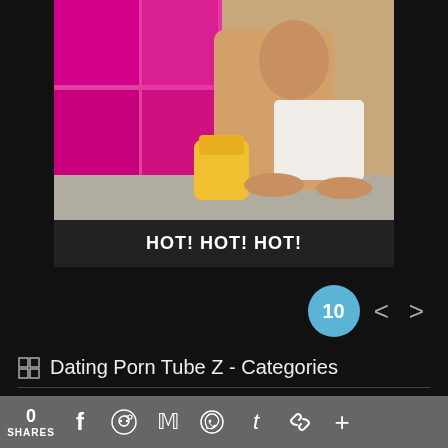[Figure (photo): Screenshot of an adult website showing a thumbnail image with a person in a kitchen setting with pink cabinets]
HOT! HOT! HOT!
10
Dating Porn Tube Z - Categories
18 Year Old
3D
0 SHARES